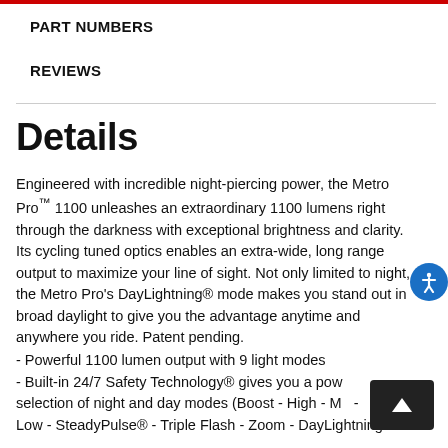PART NUMBERS
REVIEWS
Details
Engineered with incredible night-piercing power, the Metro Pro™ 1100 unleashes an extraordinary 1100 lumens right through the darkness with exceptional brightness and clarity. Its cycling tuned optics enables an extra-wide, long range output to maximize your line of sight. Not only limited to night, the Metro Pro's DayLightning® mode makes you stand out in broad daylight to give you the advantage anytime and anywhere you ride. Patent pending.
- Powerful 1100 lumen output with 9 light modes
- Built-in 24/7 Safety Technology® gives you a pow selection of night and day modes (Boost - High - Me -
Low - SteadyPulse® - Triple Flash - Zoom - DayLightning®